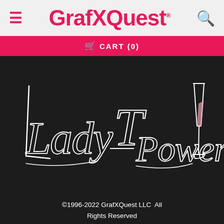≡  GrafXQuest©  🔍
🛒 CART (0)
[Figure (logo): Lady T Powers signature logo in white handwritten script on black background, with a champagne glass illustration on the right side. The glass has a pink/rose-colored liquid inside.]
©1996-2022 GrafXQuest LLC  All Rights Reserved